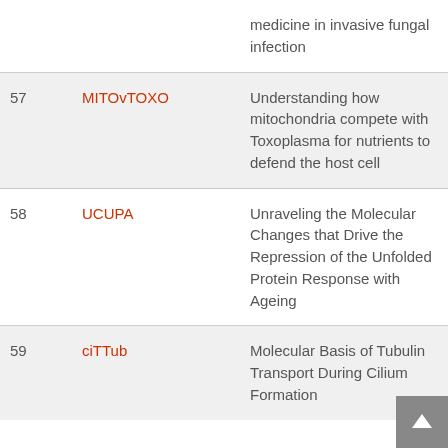| # | Abbreviation | Title | Year |
| --- | --- | --- | --- |
|  |  | medicine in invasive fungal infection |  |
| 57 | MITOvTOXO | Understanding how mitochondria compete with Toxoplasma for nutrients to defend the host cell | 202 |
| 58 | UCUPA | Unraveling the Molecular Changes that Drive the Repression of the Unfolded Protein Response with Ageing | 202 |
| 59 | ciTTub | Molecular Basis of Tubulin Transport During Cilium Formation | 202 |